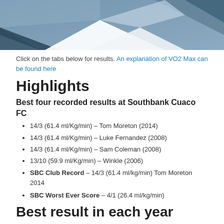[Figure (illustration): Decorative geometric header image with blue/grey polygonal shapes and a blurred background photo]
Click on the tabs below for results. An explanation of VO2 Max can be found here
Highlights
Best four recorded results at Southbank Cuaco FC
14/3 (61.4 ml/Kg/min) – Tom Moreton (2014)
14/3 (61.4 ml/Kg/min) – Luke Fernandez (2008)
14/3 (61.4 ml/Kg/min) – Sam Coleman (2008)
13/10 (59.9 ml/Kg/min) – Winkle (2006)
SBC Club Record – 14/3 (61.4 ml/kg/min) Tom Moreton 2014
SBC Worst Ever Score – 4/1 (26.4 ml/kg/min)
Best result in each year